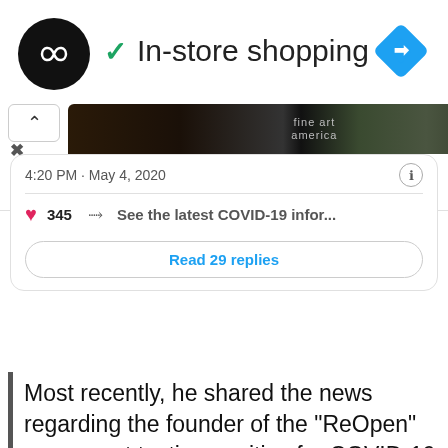[Figure (screenshot): Ad banner: circular black logo with infinity/loop symbol, green checkmark, 'In-store shopping' text, blue diamond navigation icon top right, play and close button controls bottom left]
[Figure (screenshot): Tweet card showing image strip with 'fine art america' text, timestamp 4:20 PM May 4 2020, info icon, 345 likes heart icon, lightning bolt COVID-19 info link, Read 29 replies button]
Most recently, he shared the news regarding the founder of the "ReOpen" movement testing positive for COVID-19, encouraging fans to "Hang in there. Be safe. Wear masks in public. We WILL see you when this storm passes."